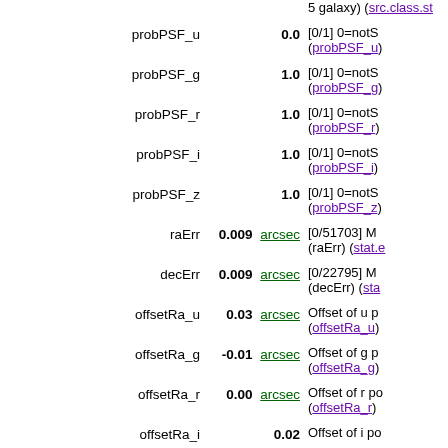5 galaxy) (src.class.st
probPSF_u  0.0  [0/1] 0=notS (probPSF_u)
probPSF_g  1.0  [0/1] 0=notS (probPSF_g)
probPSF_r  1.0  [0/1] 0=notS (probPSF_r)
probPSF_i  1.0  [0/1] 0=notS (probPSF_i)
probPSF_z  1.0  [0/1] 0=notS (probPSF_z)
raErr  0.009 arcsec  [0/51703] M (raErr) (stat.e
decErr  0.009 arcsec  [0/22795] M (decErr) (sta
offsetRa_u  0.03 arcsec  Offset of u p (offsetRa_u)
offsetRa_g  -0.01 arcsec  Offset of g p (offsetRa_g)
offsetRa_r  0.00 arcsec  Offset of r po (offsetRa_r)
offsetRa_i  0.02  Offset of i po